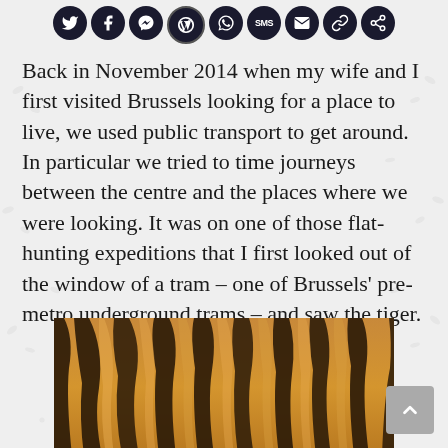[Figure (other): Row of social media sharing icons (Twitter, Facebook, Messenger, WordPress, WhatsApp, SMS, Email, Link, Share) as dark circular buttons]
Back in November 2014 when my wife and I first visited Brussels looking for a place to live, we used public transport to get around. In particular we tried to time journeys between the centre and the places where we were looking. It was on one of those flat-hunting expeditions that I first looked out of the window of a tram – one of Brussels' pre-metro underground trams – and saw the tiger.
[Figure (photo): Close-up photo of tiger fur showing orange and dark brown/black stripes]